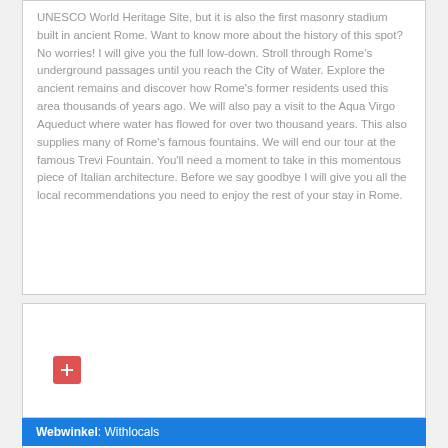UNESCO World Heritage Site, but it is also the first masonry stadium built in ancient Rome. Want to know more about the history of this spot? No worries! I will give you the full low-down. Stroll through Rome's underground passages until you reach the City of Water. Explore the ancient remains and discover how Rome's former residents used this area thousands of years ago. We will also pay a visit to the Aqua Virgo Aqueduct where water has flowed for over two thousand years. This also supplies many of Rome's famous fountains. We will end our tour at the famous Trevi Fountain. You'll need a moment to take in this momentous piece of Italian architecture. Before we say goodbye I will give you all the local recommendations you need to enjoy the rest of your stay in Rome.
[Figure (other): White box with a red plus button icon, indicating an add or upload action]
Webwinkel: Withlocals